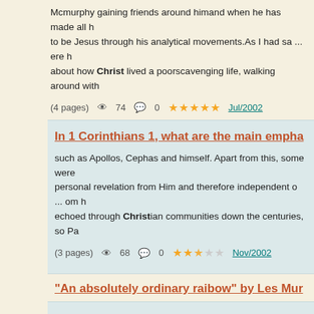Mcmurphy gaining friends around himand when he has made all h to be Jesus through his analytical movements.As I had sa ... ere h about how Christ lived a poorscavenging life, walking around with
(4 pages)  74  0  ★★★★★  Jul/2002
In 1 Corinthians 1, what are the main empha
such as Apollos, Cephas and himself. Apart from this, some were personal revelation from Him and therefore independent o ... om h echoed through Christian communities down the centuries, so Pa
(3 pages)  68  0  ★★½☆☆  Nov/2002
"An absolutely ordinary raibow" by Les Mur
s of poetry 2nd edition". The hero's normality is shown in the juxst which they are renowned for "some will say a halo or ...
(4 pages)  35  0  ★★★★★  Feb/2003